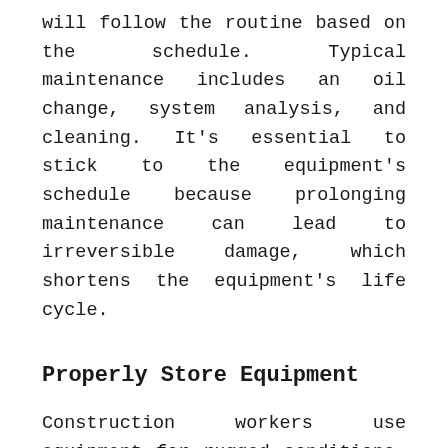will follow the routine based on the schedule. Typical maintenance includes an oil change, system analysis, and cleaning. It's essential to stick to the equipment's schedule because prolonging maintenance can lead to irreversible damage, which shortens the equipment's life cycle.
Properly Store Equipment
Construction workers use equipment for rugged conditions. However, it can't be left unattended on jobsites or exposed for long periods of time. Therefore, you need to properly store your equipment in a designated storage facility. Proper storage